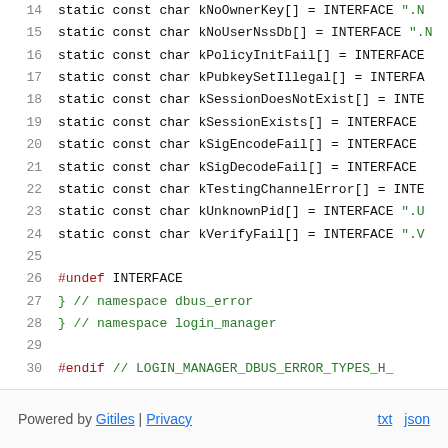14   static const char kNoOwnerKey[] = INTERFACE ".N"
15   static const char kNoUserNssDb[] = INTERFACE ".N"
16   static const char kPolicyInitFail[] = INTERFACE
17   static const char kPubkeySetIllegal[] = INTERFA
18   static const char kSessionDoesNotExist[] = INTE
19   static const char kSessionExists[] = INTERFACE
20   static const char kSigEncodeFail[] = INTERFACE
21   static const char kSigDecodeFail[] = INTERFACE
22   static const char kTestingChannelError[] = INTE
23   static const char kUnknownPid[] = INTERFACE ".U"
24   static const char kVerifyFail[] = INTERFACE ".V"
25
26   #undef INTERFACE
27   }  // namespace dbus_error
28   }  // namespace login_manager
29
30   #endif  // LOGIN_MANAGER_DBUS_ERROR_TYPES_H_
Powered by Gitiles | Privacy   txt  json